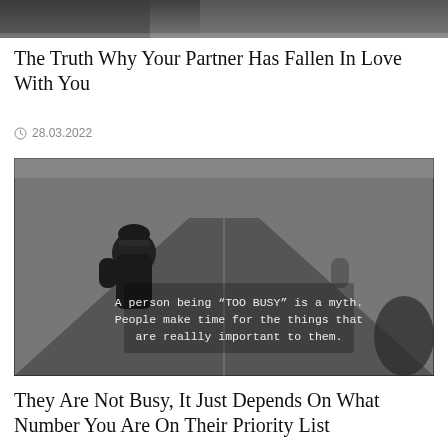[Figure (photo): Black and white photo, partial view of persons at top of page]
The Truth Why Your Partner Has Fallen In Love With You
28.03.2022
[Figure (photo): Black and white photo of a person wearing a beanie standing on a road, with overlaid text: A person being "TOO BUSY" is a myth. People make time for the things that are reallly important to them.]
They Are Not Busy, It Just Depends On What Number You Are On Their Priority List